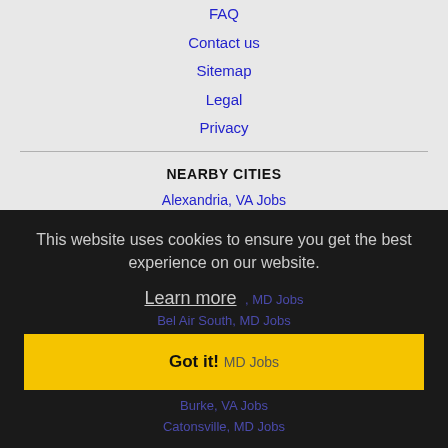FAQ
Contact us
Sitemap
Legal
Privacy
NEARBY CITIES
Alexandria, VA Jobs
Annandale, VA Jobs
Arlington, VA Jobs
This website uses cookies to ensure you get the best experience on our website.
Learn more
Bel Air South, MD Jobs
Got it!
MD Jobs
Burke, VA Jobs
Catonsville, MD Jobs